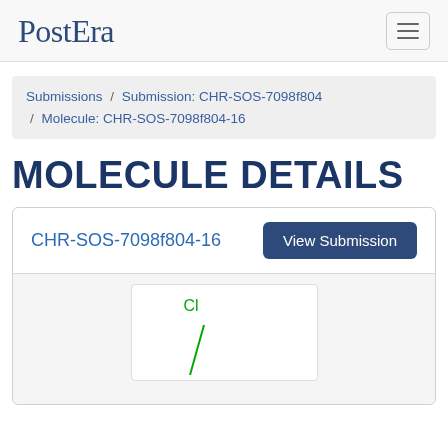PostEra
Submissions / Submission: CHR-SOS-7098f804 / Molecule: CHR-SOS-7098f804-16
MOLECULE DETAILS
CHR-SOS-7098f804-16
[Figure (illustration): Partial chemical structure diagram showing a chlorine atom label 'Cl' with a bond line descending, representing part of molecule CHR-SOS-7098f804-16]